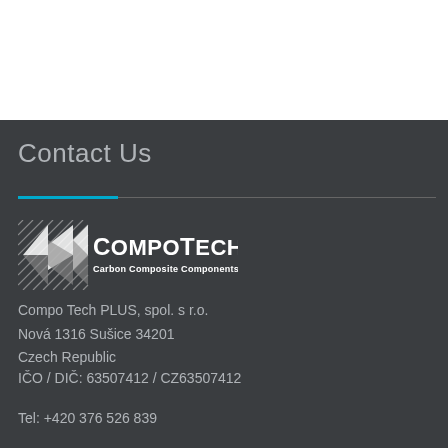Contact Us
[Figure (logo): CompoTech Carbon Composite Components logo with stylized carbon fiber graphic on left and white text COMPOTECH and subtitle Carbon Composite Components]
Compo Tech PLUS, spol. s r.o.
Nová 1316 Sušice 34201
Czech Republic
IČO / DIČ: 63507412 / CZ63507412
Tel: +420 376 526 839